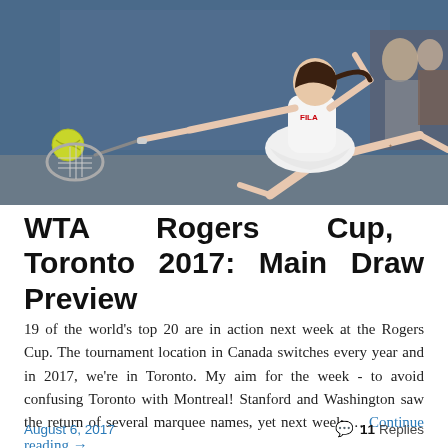[Figure (photo): A female tennis player in white FILA outfit lunging to hit a tennis ball on a court with a blue background wall]
WTA Rogers Cup, Toronto 2017: Main Draw Preview
19 of the world's top 20 are in action next week at the Rogers Cup. The tournament location in Canada switches every year and in 2017, we're in Toronto. My aim for the week - to avoid confusing Toronto with Montreal! Stanford and Washington saw the return of several marquee names, yet next week … Continue reading →
August 6, 2017   11 Replies